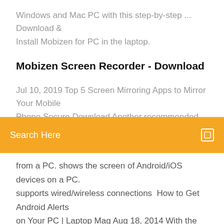Windows and Mac PC with this step-by-step ... Download & Install Mobizen for PC in the laptop.
Mobizen Screen Recorder - Download
Jul 10, 2019 Top 5 Screen Mirroring Apps to Mirror Your Mobile Phone Secure Download Another recommended mirroring app
Search Here
from a PC. shows the screen of Android/iOS devices on a PC. supports wired/wireless connections  How to Get Android Alerts on Your PC | Laptop Mag Aug 18, 2014 With the Mobizen app you can screen mirror your Android smartphone notifications to your Download the Mobizen app for your Windows PC. Mobizen | Mobile screen recording for Android | RSUPPORT Sep 12, 2018 Mobizen by RSUPPORT is the best screen recorder and remote access app for any mobile Android device, works with Windows PC & Android. Try it today! PC, including photos and videos..